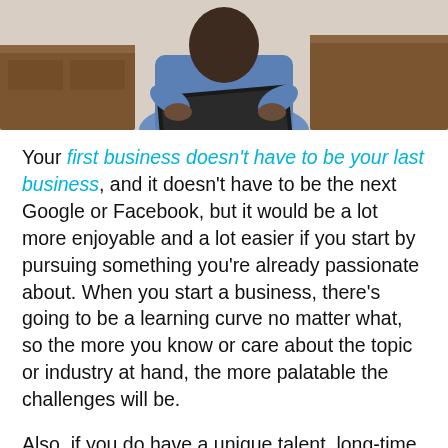[Figure (photo): Photo of a person sitting at a wooden desk, holding or using a laptop, wearing a blue outfit. Two wooden furniture pieces visible in background.]
Your first business doesn't have to be your last business, and it doesn't have to be the next Google or Facebook, but it would be a lot more enjoyable and a lot easier if you start by pursuing something you're already passionate about. When you start a business, there's going to be a learning curve no matter what, so the more you know or care about the topic or industry at hand, the more palatable the challenges will be.
Also, if you do have a unique talent, long-time hobby, or expertise, starting a business around it can easily boost your credibility and knowledge from day one, which can accelerate your success,